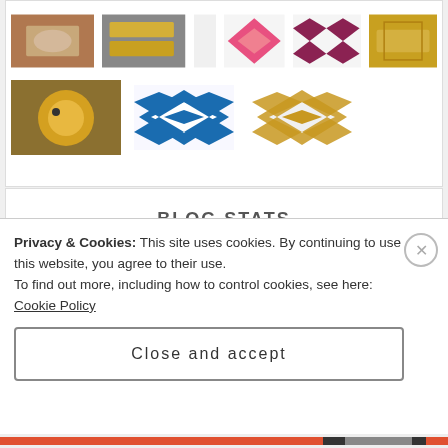[Figure (photo): Grid of thumbnail images: hands, gold bars, pink/maroon geometric icons, sandwich; bottom row: yellow chick, blue geometric pattern, gold geometric pattern]
BLOG STATS
47,594 hits
Privacy & Cookies: This site uses cookies. By continuing to use this website, you agree to their use.
To find out more, including how to control cookies, see here: Cookie Policy
Close and accept